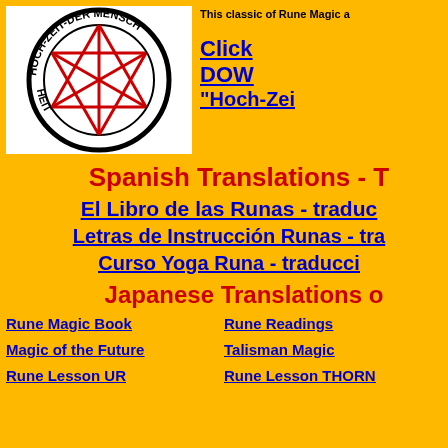[Figure (logo): Circular logo with red star-of-David-like six-pointed geometric pattern, with text around the circle reading HOCH-ZEIT-DER MENSCHHEIT]
This classic of Rune Magic a...
Click DOW "Hoch-Zei...
Spanish Translations - T
El Libro de las Runas - traduc...
Letras de Instrucción Runas - tra...
Curso Yoga Runa - traducci...
Japanese Translations o
Rune Magic Book
Rune Readings
Magic of the Future
Talisman Magic
Rune Lesson UR
Rune Lesson THORN